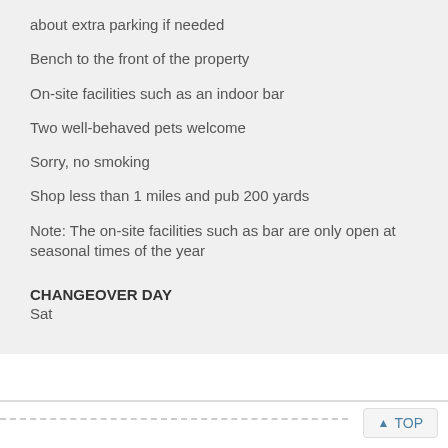about extra parking if needed
Bench to the front of the property
On-site facilities such as an indoor bar
Two well-behaved pets welcome
Sorry, no smoking
Shop less than 1 miles and pub 200 yards
Note: The on-site facilities such as bar are only open at seasonal times of the year
CHANGEOVER DAY
Sat
TOP